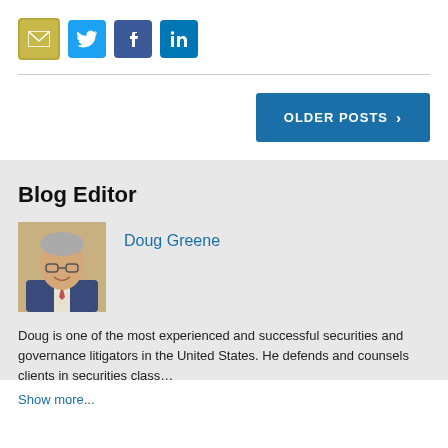[Figure (infographic): Social media sharing icons: email (envelope), Twitter bird, Facebook f, LinkedIn in]
OLDER POSTS ›
Blog Editor
[Figure (photo): Headshot photo of Doug Greene, a man with grey hair and glasses wearing a suit]
Doug Greene
Doug is one of the most experienced and successful securities and governance litigators in the United States. He defends and counsels clients in securities class…
Show more...